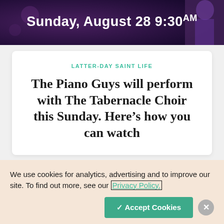[Figure (photo): Dark purple/violet background image with text overlay reading 'Sunday, August 28 9:30AM' in white bold font. Partially visible person on right side wearing purple.]
LATTER-DAY SAINT LIFE
The Piano Guys will perform with The Tabernacle Choir this Sunday. Here’s how you can watch
We use cookies for analytics, advertising and to improve our site. To find out more, see our Privacy Policy.
✓ Accept Cookies